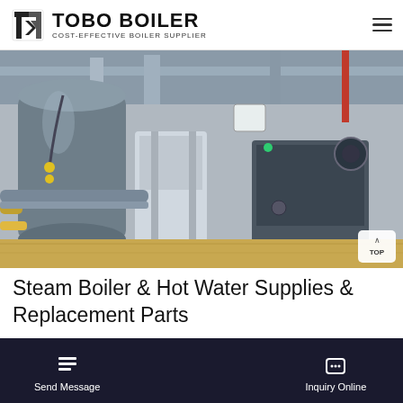TOBO BOILER — COST-EFFECTIVE BOILER SUPPLIER
[Figure (photo): Industrial boiler room interior with large cylindrical metal boilers, pipes, and ventilation equipment in a facility with concrete floor]
Steam Boiler & Hot Water Supplies & Replacement Parts
...supplies everything you need in your boiler ...r pu... heat exchangers, replacement ...mo... am ...| Pow...
[Figure (screenshot): WhatsApp contact bar (green) with WhatsApp logo and label 'WhatsApp']
[Figure (screenshot): Blue circular email/message bubble icon overlay]
Send Message | Inquiry Online